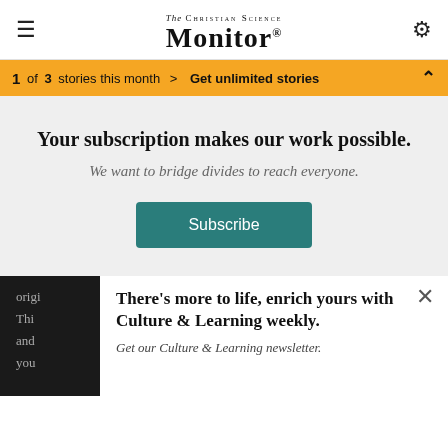The Christian Science Monitor
1 of 3 stories this month > Get unlimited stories
Your subscription makes our work possible.
We want to bridge divides to reach everyone.
Subscribe
origi... ted
Thi... ality
and... site
you... e
There's more to life, enrich yours with Culture & Learning weekly.
Get our Culture & Learning newsletter.